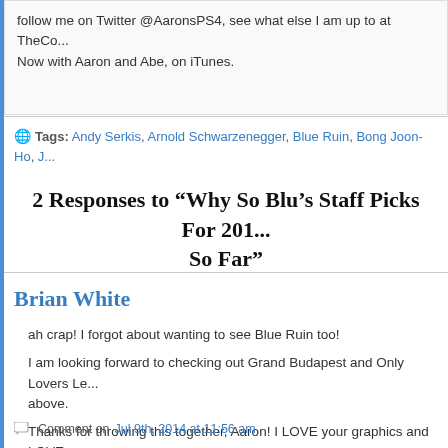follow me on Twitter @AaronsPS4, see what else I am up to at TheCod... Now with Aaron and Abe, on iTunes.
Tags: Andy Serkis, Arnold Schwarzenegger, Blue Ruin, Bong Joon-Ho, J...
2 Responses to “Why So Blu’s Staff Picks For 201... So Far”
Brian White
ah crap! I forgot about wanting to see Blue Ruin too!
I am looking forward to checking out Grand Budapest and Only Lovers Le... above.
Thanks for throwing this together, Aaron! I LOVE your graphics and LOVE...
If I had to pick a number 4 I would have probably went with Snowpiercer,... Tomorrow is lingering in my Top 10 too.
Comment on Jul 9th, 2014 at 11:56 am